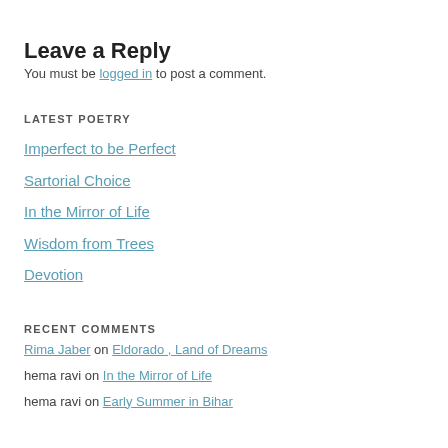Leave a Reply
You must be logged in to post a comment.
LATEST POETRY
Imperfect to be Perfect
Sartorial Choice
In the Mirror of Life
Wisdom from Trees
Devotion
RECENT COMMENTS
Rima Jaber on Eldorado , Land of Dreams
hema ravi on In the Mirror of Life
hema ravi on Early Summer in Bihar